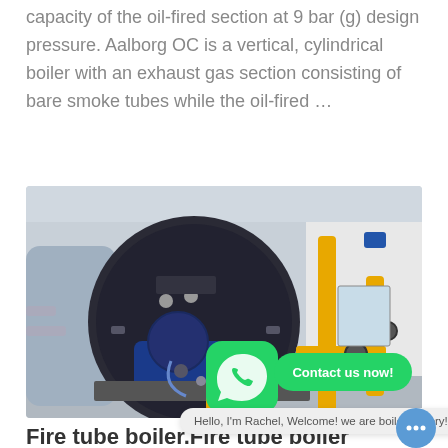capacity of the oil-fired section at 9 bar (g) design pressure. Aalborg OC is a vertical, cylindrical boiler with an exhaust gas section consisting of bare smoke tubes while the oil-fired …
Learn More
[Figure (photo): Industrial boiler room showing a large cylindrical fire tube boiler with blue front panel and yellow gas pipes]
Contact us now!
Fire tube boiler.Fire tube boiler price,S
Hello, I'm Rachel, Welcome! we are boiler factory!
A fire tube boiler is an industrial boiler in which